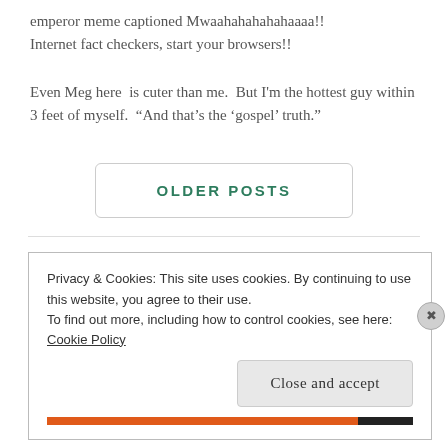emperor meme captioned Mwaahahahahahaaaa!! Internet fact checkers, start your browsers!!
Even Meg here  is cuter than me.  But I'm the hottest guy within 3 feet of myself.  “And that's the ‘gospel’ truth.”
OLDER POSTS
Privacy & Cookies: This site uses cookies. By continuing to use this website, you agree to their use.
To find out more, including how to control cookies, see here: Cookie Policy
Close and accept